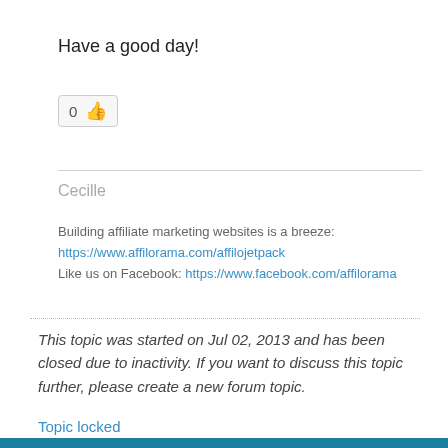Have a good day!
[Figure (other): Like button with count 0 and thumbs up emoji]
Cecille
Building affiliate marketing websites is a breeze:
https://www.affilorama.com/affilojetpack
Like us on Facebook: https://www.facebook.com/affilorama
This topic was started on Jul 02, 2013 and has been closed due to inactivity. If you want to discuss this topic further, please create a new forum topic.
Topic locked